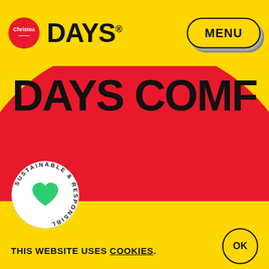[Figure (logo): Christea Days logo with red circular Christea badge and bold DAYS® wordmark in navigation bar]
MENU
[Figure (illustration): Large red circle with bold black text reading 'DAYS COMF' (partially cropped) on yellow background]
[Figure (logo): Sustainable & Responsible circular badge with green heart icon]
THIS WEBSITE USES COOKIES.
OK